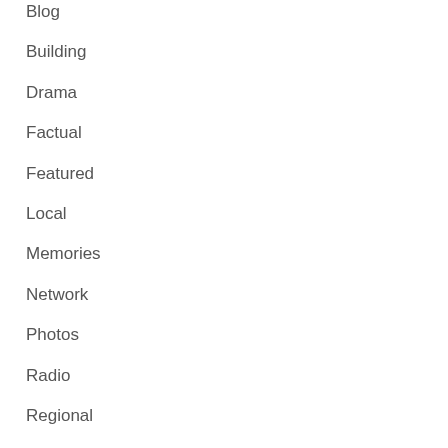Blog
Building
Drama
Factual
Featured
Local
Memories
Network
Photos
Radio
Regional
Television